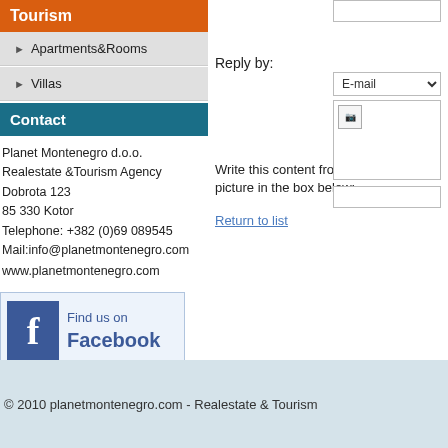Tourism
Apartments&Rooms
Villas
Contact
Planet Montenegro d.o.o.
Realestate &Tourism Agency
Dobrota 123
85 330 Kotor
Telephone: +382 (0)69 089545
Mail:info@planetmontenegro.com
www.planetmontenegro.com
[Figure (logo): Find us on Facebook logo with blue Facebook icon]
Reply by:
Write this content from this picture in the box below:
Return to list
© 2010 planetmontenegro.com - Realestate & Tourism